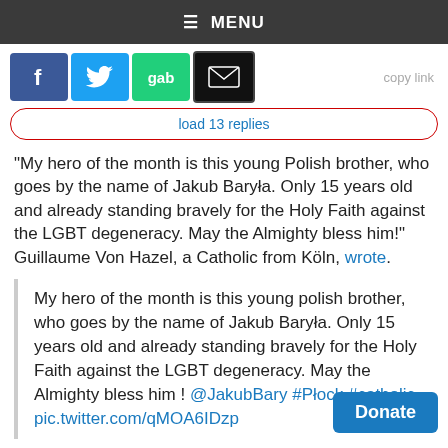≡ MENU
[Figure (other): Social share buttons: Facebook (blue), Twitter (light blue), gab (green), email/mail (black). Also a 'copy link' label partially visible.]
load 13 replies
"My hero of the month is this young Polish brother, who goes by the name of Jakub Baryła. Only 15 years old and already standing bravely for the Holy Faith against the LGBT degeneracy. May the Almighty bless him!" Guillaume Von Hazel, a Catholic from Köln, wrote.
My hero of the month is this young polish brother, who goes by the name of Jakub Baryła. Only 15 years old and already standing bravely for the Holy Faith against the LGBT degeneracy. May the Almighty bless him ! @JakubBary #Płock #catholic pic.twitter.com/qMOA6IDzp
[Figure (other): Donate button (blue rounded rectangle)]